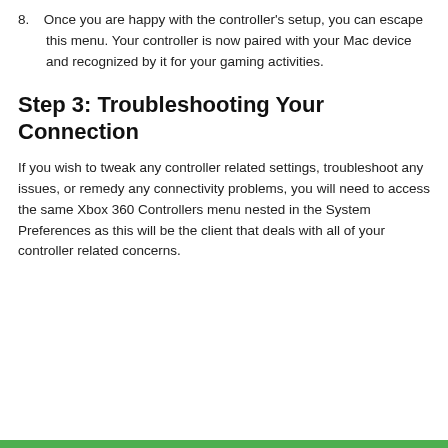8. Once you are happy with the controller's setup, you can escape this menu. Your controller is now paired with your Mac device and recognized by it for your gaming activities.
Step 3: Troubleshooting Your Connection
If you wish to tweak any controller related settings, troubleshoot any issues, or remedy any connectivity problems, you will need to access the same Xbox 360 Controllers menu nested in the System Preferences as this will be the client that deals with all of your controller related concerns.